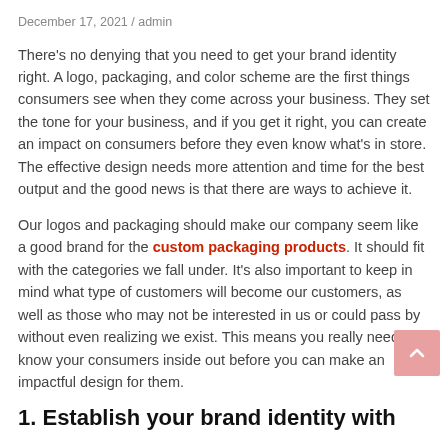December 17, 2021 / admin
There's no denying that you need to get your brand identity right. A logo, packaging, and color scheme are the first things consumers see when they come across your business. They set the tone for your business, and if you get it right, you can create an impact on consumers before they even know what's in store. The effective design needs more attention and time for the best output and the good news is that there are ways to achieve it.
Our logos and packaging should make our company seem like a good brand for the custom packaging products. It should fit with the categories we fall under. It's also important to keep in mind what type of customers will become our customers, as well as those who may not be interested in us or could pass by without even realizing we exist. This means you really need to know your consumers inside out before you can make an impactful design for them.
1. Establish your brand identity with